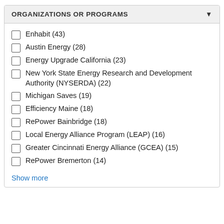ORGANIZATIONS OR PROGRAMS
Enhabit (43)
Austin Energy (28)
Energy Upgrade California (23)
New York State Energy Research and Development Authority (NYSERDA) (22)
Michigan Saves (19)
Efficiency Maine (18)
RePower Bainbridge (18)
Local Energy Alliance Program (LEAP) (16)
Greater Cincinnati Energy Alliance (GCEA) (15)
RePower Bremerton (14)
Show more